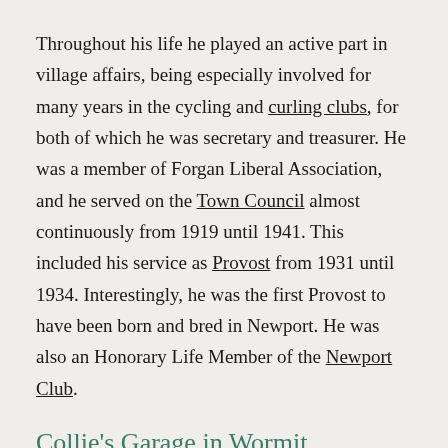Throughout his life he played an active part in village affairs, being especially involved for many years in the cycling and curling clubs, for both of which he was secretary and treasurer. He was a member of Forgan Liberal Association, and he served on the Town Council almost continuously from 1919 until 1941. This included his service as Provost from 1931 until 1934. Interestingly, he was the first Provost to have been born and bred in Newport. He was also an Honorary Life Member of the Newport Club.
Collie's Garage in Wormit